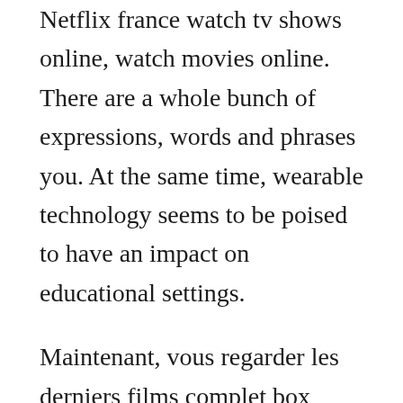Netflix france watch tv shows online, watch movies online. There are a whole bunch of expressions, words and phrases you. At the same time, wearable technology seems to be poised to have an impact on educational settings.
Maintenant, vous regarder les derniers films complet box office en francais vf. Stream gratuit hook up with finn and jake as they travel the land of ooo searching for adventure. Founded in a spirit of collaboration and motivation, the movement stimulates the production of shortfilms by small crews with